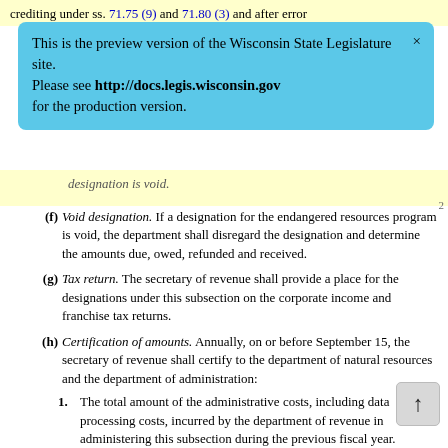crediting under ss. 71.75 (9) and 71.80 (3) and after error
This is the preview version of the Wisconsin State Legislature site. Please see http://docs.legis.wisconsin.gov for the production version.
designation is void.
(f) Void designation. If a designation for the endangered resources program is void, the department shall disregard the designation and determine the amounts due, owed, refunded and received.
(g) Tax return. The secretary of revenue shall provide a place for the designations under this subsection on the corporate income and franchise tax returns.
(h) Certification of amounts. Annually, on or before September 15, the secretary of revenue shall certify to the department of natural resources and the department of administration:
1. The total amount of the administrative costs, including data processing costs, incurred by the department of revenue in administering this subsection during the previous fiscal year.
2. The total amount received from all designations for the endangered resources program made by corporations during the previous fiscal year.
3. The net amount remaining after the administrative costs